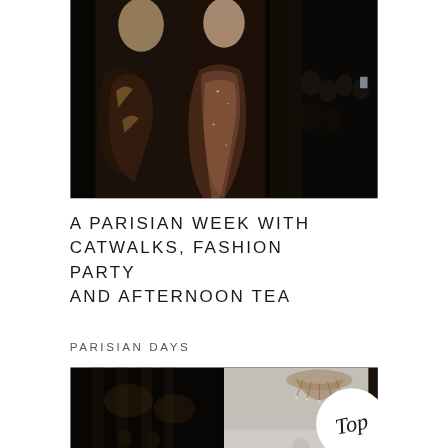[Figure (photo): Fashion runway photo showing two models in dark ornate dresses walking on a catwalk with audience in background]
A PARISIAN WEEK WITH CATWALKS, FASHION PARTY AND AFTERNOON TEA
PARISIAN DAYS
[Figure (photo): Split image: left side shows an ornate dark interior hall, right side shows a chandelier in a light elegant space with a circular white badge reading 'Top' in cursive]